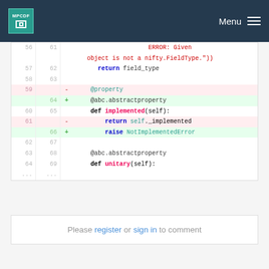MPCDF  Menu
[Figure (screenshot): Code diff view showing Python code changes. Lines 56-69 visible. Removed line 59: @property, removed line 61: return self._implemented. Added line 64: @abc.abstractproperty, added line 66: raise NotImplementedError. Context lines show def implemented(self):, @abc.abstractproperty, def unitary(self):]
Please register or sign in to comment